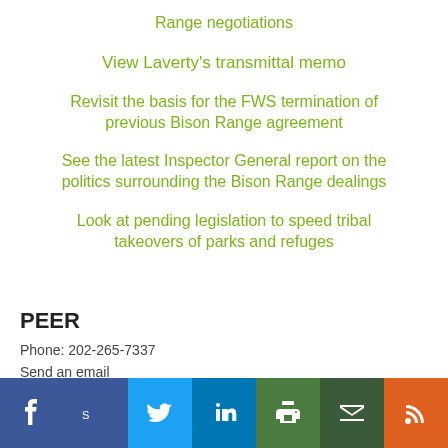Range negotiations
View Laverty's transmittal memo
Revisit the basis for the FWS termination of previous Bison Range agreement
See the latest Inspector General report on the politics surrounding the Bison Range dealings
Look at pending legislation to speed tribal takeovers of parks and refuges
PEER
Phone: 202-265-7337
Send an email
[Figure (infographic): Social media sharing buttons: Facebook, share, Twitter, LinkedIn, print, email, RSS feed]